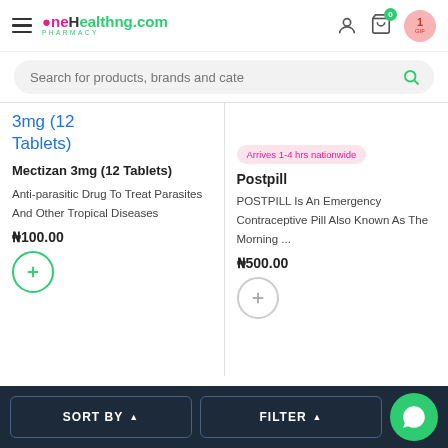OneHealthng.com PHARMACY — navigation header with hamburger menu, user icon, cart (0), and notification button
Search for products, brands and cate
3mg (12 Tablets)
Mectizan 3mg (12 Tablets)
Anti-parasitic Drug To Treat Parasites And Other Tropical Diseases
₦100.00
Arrives 1-4 hrs nationwide
Postpill
POSTPILL Is An Emergency Contraceptive Pill Also Known As The Morning ...
₦500.00
SORT BY ▲   FILTER ▲